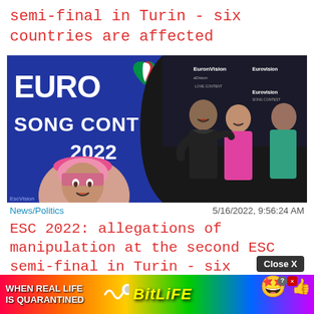semi-final in Turin - six countries are affected
[Figure (photo): Composite image: left side shows Eurovision Song Contest 2022 logo with person in pink bucket hat; right side shows three people posing in front of Eurovision backdrop]
News/Politics    5/16/2022, 9:56:24 AM
ESC 2022: allegations of manipulation at the second ESC semi-final in Turin - six countries are affected
[Figure (infographic): BitLife advertisement banner with rainbow gradient background, text WHEN REAL LIFE IS QUARANTINED, BitLife logo, emoji characters, and close X button overlay]